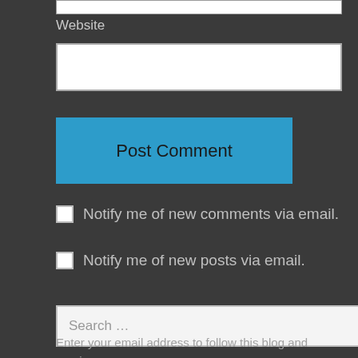Website
Post Comment
Notify me of new comments via email.
Notify me of new posts via email.
Search …
Enter your email address to follow this blog and receive